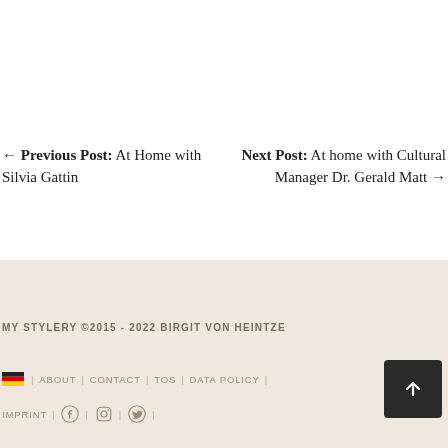← Previous Post: At Home with Silvia Gattin
Next Post: At home with Cultural Manager Dr. Gerald Matt →
MY STYLERY ©2015 - 2022 BIRGIT VON HEINTZE
ABOUT | CONTACT | TOS | DATA POLICY | IMPRINT | [Facebook] | [Instagram] | [Twitter]